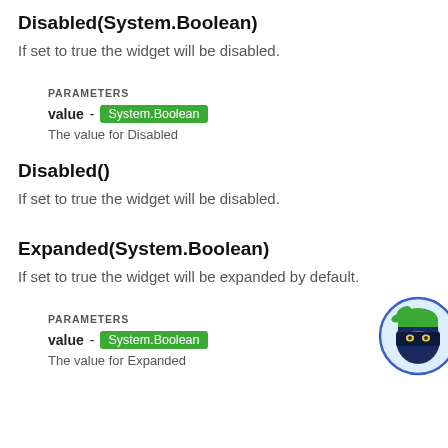Disabled(System.Boolean)
If set to true the widget will be disabled.
PARAMETERS
value - System.Boolean
The value for Disabled
Disabled()
If set to true the widget will be disabled.
Expanded(System.Boolean)
If set to true the widget will be expanded by default.
PARAMETERS
value - System.Boolean
The value for Expanded